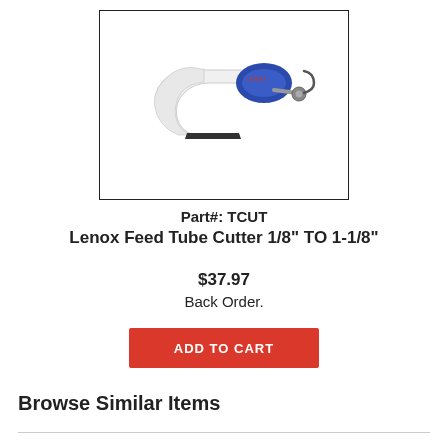[Figure (photo): Lenox tube cutter tool, white and blue body with metal cutting blade, shown at an angle on white background with 'ips247.com' watermark]
Part#: TCUT
Lenox Feed Tube Cutter 1/8" TO 1-1/8"
$37.97
Back Order.
ADD TO CART
Browse Similar Items